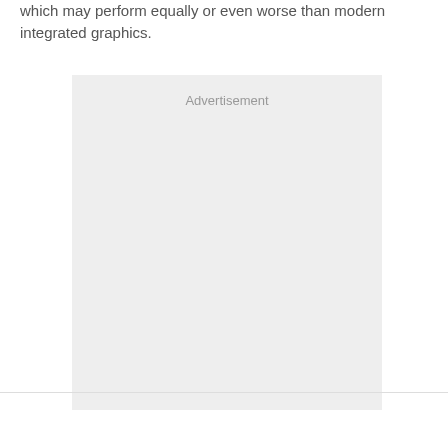which may perform equally or even worse than modern integrated graphics.
[Figure (other): Advertisement placeholder box with light gray background and 'Advertisement' label at the top center.]